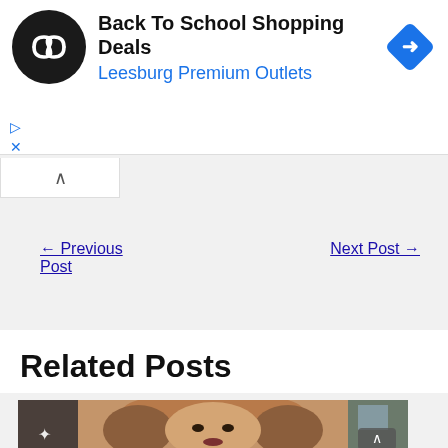[Figure (other): Advertisement banner with circular black logo with infinity-like symbol, text 'Back To School Shopping Deals' and 'Leesburg Premium Outlets', and a blue diamond navigation icon on the right]
← Previous Post
Next Post →
Related Posts
[Figure (photo): Photo of a young woman with long wavy reddish-blonde hair, wearing makeup, standing in front of a brick wall background]